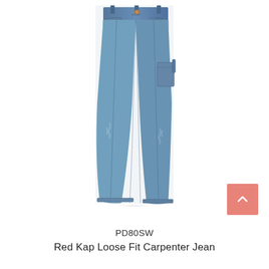[Figure (photo): Product photo of Red Kap Loose Fit Carpenter Jeans (model PD80SW), shown as stonewashed blue denim jeans with carpenter details, displayed floating on white background.]
PD80SW
Red Kap Loose Fit Carpenter Jean